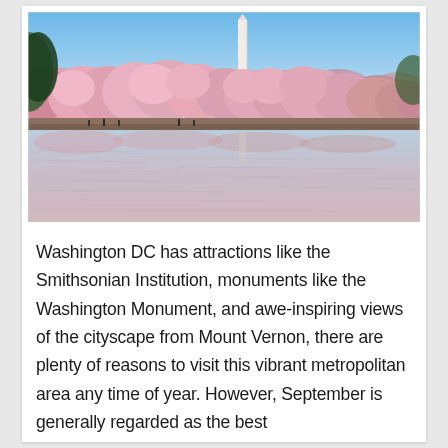[Figure (photo): Photograph of the Washington Monument seen above a row of blooming pink cherry blossom trees lining the Tidal Basin in Washington DC, with the water reflecting the pink blossoms in the foreground and a clear blue sky above.]
Washington DC has attractions like the Smithsonian Institution, monuments like the Washington Monument, and awe-inspiring views of the cityscape from Mount Vernon, there are plenty of reasons to visit this vibrant metropolitan area any time of year. However, September is generally regarded as the best